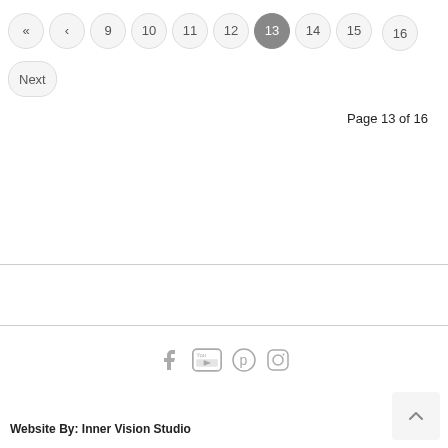« ‹ 9 10 11 12 13 14 15 16 Next
Page 13 of 16
[Figure (other): Social media icons: Facebook, YouTube, Pinterest, Instagram]
Website By: Inner Vision Studio